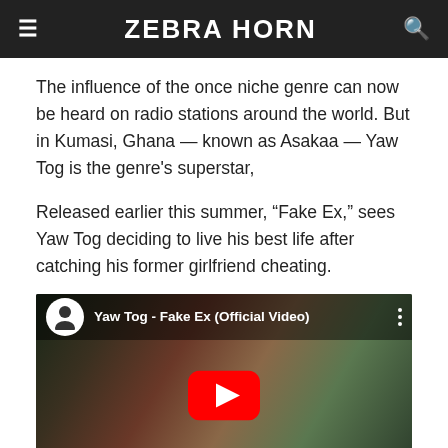ZEBRA HORN
The influence of the once niche genre can now be heard on radio stations around the world. But in Kumasi, Ghana — known as Asakaa — Yaw Tog is the genre's superstar,
Released earlier this summer, “Fake Ex,” sees Yaw Tog deciding to live his best life after catching his former girlfriend cheating.
[Figure (screenshot): YouTube video embed thumbnail for 'Yaw Tog - Fake Ex (Official Video)' showing the artist with women in a pool setting, with a red YouTube play button in the center and a channel avatar with 'CLOSE' button overlay.]